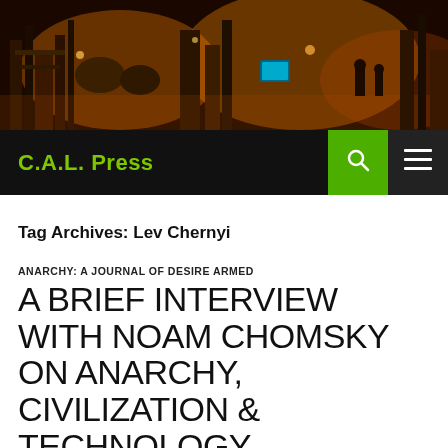[Figure (photo): Industrial facility at night with orange/amber lighting, machinery and workers visible]
C.A.L. Press
Tag Archives: Lev Chernyi
ANARCHY: A JOURNAL OF DESIRE ARMED
A BRIEF INTERVIEW WITH NOAM CHOMSKY ON ANARCHY, CIVILIZATION & TECHNOLOGY